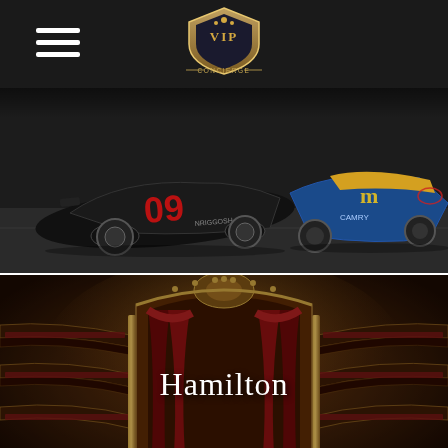VIP Concierge (navigation header with hamburger menu and logo)
[Figure (photo): NASCAR racing cars on track — black car #09 on left and blue/yellow Camry car on right, dark background]
[Figure (photo): Ornate grand theater interior with gold balconies, red curtains and seating, with 'Hamilton' text overlay in white]
[Figure (photo): Gold theatrical comedy/tragedy masks against red draped fabric background]